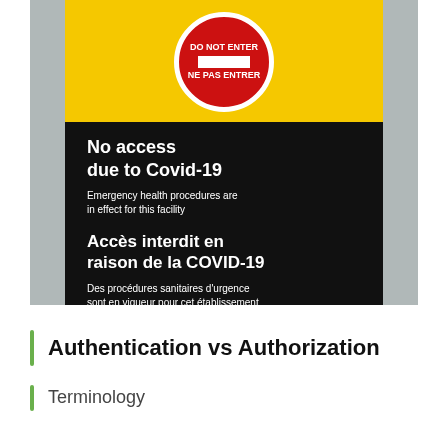[Figure (photo): A bilingual COVID-19 'No Access / Accès interdit' sign hanging on a door. The sign has a yellow top section with a red 'Do Not Enter / Ne Pas Entrer' circle symbol, a yellow-and-black diagonal stripe band, and a black bottom section with white text reading: 'No access due to Covid-19 / Emergency health procedures are in effect for this facility' and 'Accès interdit en raison de la COVID-19 / Des procédures sanitaires d'urgence sont en vigueur pour cet établissement'.]
Authentication vs Authorization
Terminology